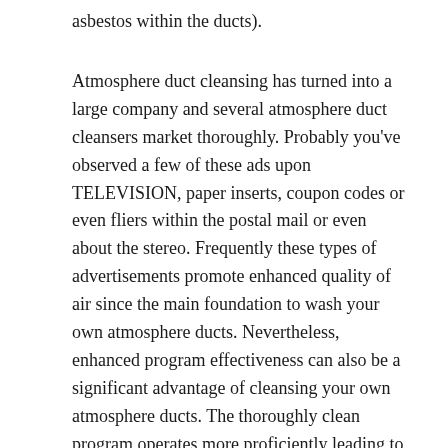asbestos within the ducts).
Atmosphere duct cleansing has turned into a large company and several atmosphere duct cleansers market thoroughly. Probably you've observed a few of these ads upon TELEVISION, paper inserts, coupon codes or even fliers within the postal mail or even about the stereo. Frequently these types of advertisements promote enhanced quality of air since the main foundation to wash your own atmosphere ducts. Nevertheless, enhanced program effectiveness can also be a significant advantage of cleansing your own atmosphere ducts. The thoroughly clean program operates more proficiently leading to this to operate much less that will save a person cash as well as decreases deterioration about the program stopping pricey maintenance or even alternative.